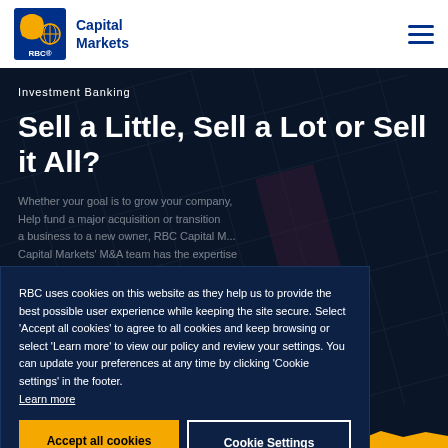[Figure (logo): RBC Capital Markets logo with lion shield emblem and 'Capital Markets' text in blue]
Investment Banking
Sell a Little, Sell a Lot or Sell it All?
RBC uses cookies on this website as they help us to provide the best possible user experience while keeping the site secure. Select 'Accept all cookies' to agree to all cookies and keep browsing or select 'Learn more' to view our policy and review your settings. You can update your preferences at any time by clicking 'Cookie settings' in the footer.
Learn more
Accept all cookies
Cookie Settings